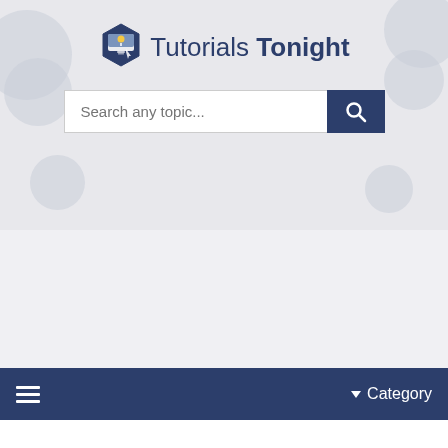[Figure (logo): Tutorials Tonight logo with hexagon icon and search bar]
☰  ▼ Category
Javascript DOM